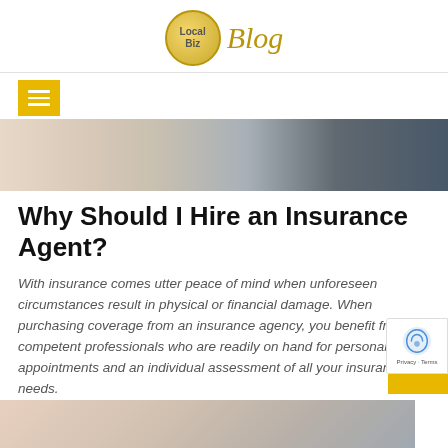[Figure (logo): Local Biz Blog logo with circular gold emblem and italic 'Blog' text]
[Figure (photo): People at a meeting table, hands visible, writing and reviewing documents, business setting]
Why Should I Hire an Insurance Agent?
With insurance comes utter peace of mind when unforeseen circumstances result in physical or financial damage. When purchasing coverage from an insurance agency, you benefit from competent professionals who are readily on hand for personal appointments and an individual assessment of all your insurance needs.
Questions? Your Solutions Are Just One Phone Call Away!
[Figure (photo): Partial photo visible at bottom of page, appears to show a person]